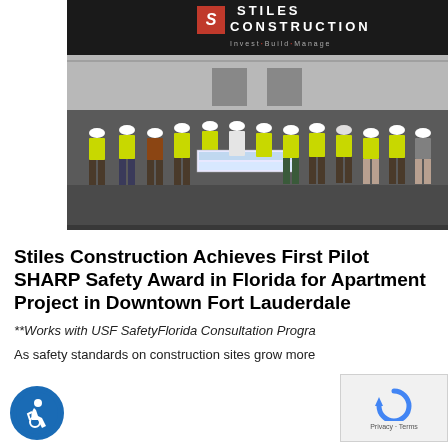[Figure (photo): Group photo of construction workers wearing yellow high-visibility vests and white hard hats standing in front of a Stiles Construction building sign that reads 'Invest·Build·Manage'. Several workers in the center are holding a large banner or document.]
Stiles Construction Achieves First Pilot SHARP Safety Award in Florida for Apartment Project in Downtown Fort Lauderdale
**Works with USF SafetyFlorida Consultation Progra
As safety standards on construction sites grow more